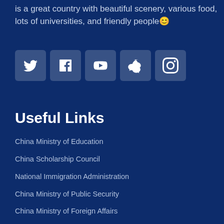is a great country with beautiful scenery, various food, lots of universities, and friendly people😊
[Figure (other): Row of five social media icon buttons: Twitter, Facebook, YouTube, WeChat, Instagram]
Useful Links
China Ministry of Education
China Scholarship Council
National Immigration Administration
China Ministry of Public Security
China Ministry of Foreign Affairs
China Visa Application Service Center